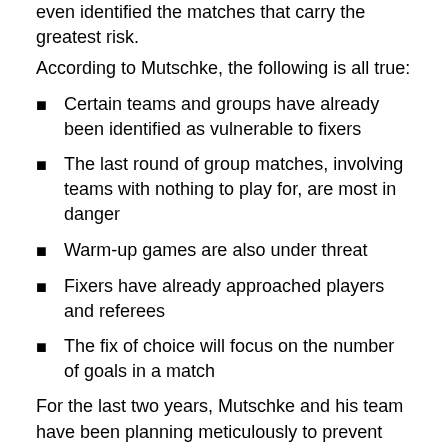even identified the matches that carry the greatest risk.
According to Mutschke, the following is all true:
Certain teams and groups have already been identified as vulnerable to fixers
The last round of group matches, involving teams with nothing to play for, are most in danger
Warm-up games are also under threat
Fixers have already approached players and referees
The fix of choice will focus on the number of goals in a match
For the last two years, Mutschke and his team have been planning meticulously to prevent World Cup games from falling victim to the fixers.
"We sent an investigative team, but travelling to Brazil...